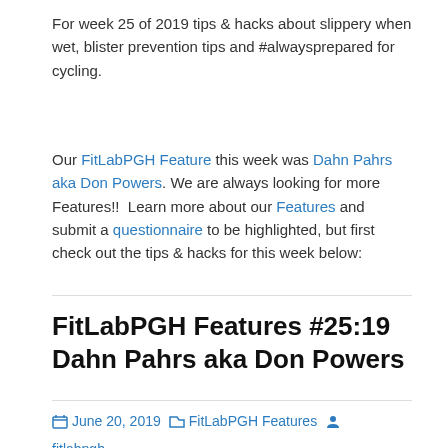For week 25 of 2019 tips & hacks about slippery when wet, blister prevention tips and #alwaysprepared for cycling.
Our FitLabPGH Feature this week was Dahn Pahrs aka Don Powers. We are always looking for more Features!!  Learn more about our Features and submit a questionnaire to be highlighted, but first check out the tips & hacks for this week below:
FitLabPGH Features #25:19 Dahn Pahrs aka Don Powers
June 20, 2019   FitLabPGH Features   fitlabpgh